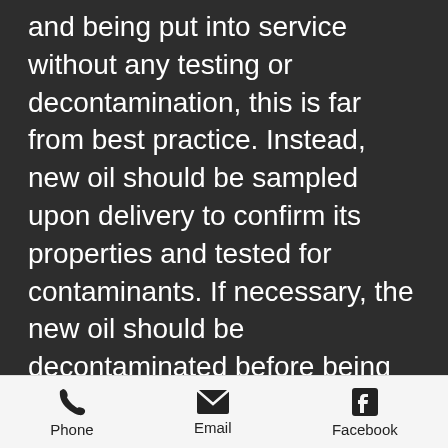and being put into service without any testing or decontamination, this is far from best practice. Instead, new oil should be sampled upon delivery to confirm its properties and tested for contaminants. If necessary, the new oil should be decontaminated before being released for service or put into bulk storage containers. The same holds true for inspections, top-ups and every small task in the lubrication program. It is not enough to simply document what is currently being done. You must design...
Phone  Email  Facebook